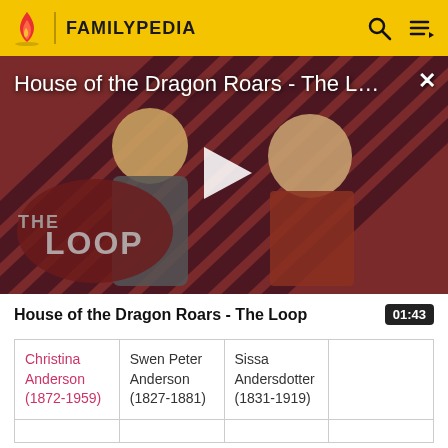FAMILYPEDIA
[Figure (screenshot): Video thumbnail for 'House of the Dragon Roars - The L...' showing two characters from House of the Dragon against a diagonal stripe background with a play button overlay and 'THE LOOP' branding]
House of the Dragon Roars - The Loop
| Christina Anderson (1872-1959) | Swen Peter Anderson (1827-1881) | Sissa Andersdotter (1831-1919) |  |
|  |  |  |  |